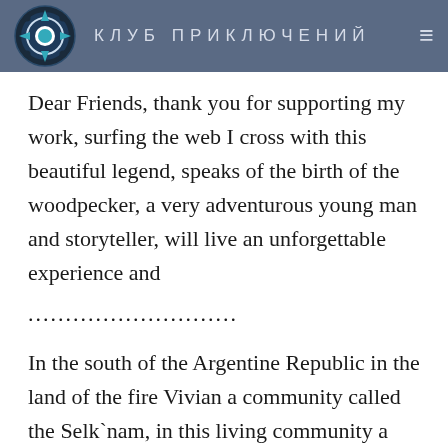КЛУБ ПРИКЛЮЧЕНИЙ
Dear Friends, thank you for supporting my work, surfing the web I cross with this beautiful legend, speaks of the birth of the woodpecker, a very adventurous young man and storyteller, will live an unforgettable experience and
............................
In the south of the Argentine Republic in the land of the fire Vivian a community called the Selk`nam, in this living community a young man called Kákach this young one was of small build very